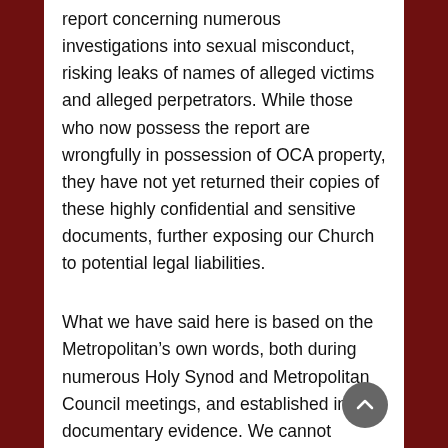report concerning numerous investigations into sexual misconduct, risking leaks of names of alleged victims and alleged perpetrators. While those who now possess the report are wrongfully in possession of OCA property, they have not yet returned their copies of these highly confidential and sensitive documents, further exposing our Church to potential legal liabilities.
What we have said here is based on the Metropolitan’s own words, both during numerous Holy Synod and Metropolitan Council meetings, and established in documentary evidence. We cannot release that publicly, and the Metropolitan Council members have legal and moral obligations to maintain in confidence